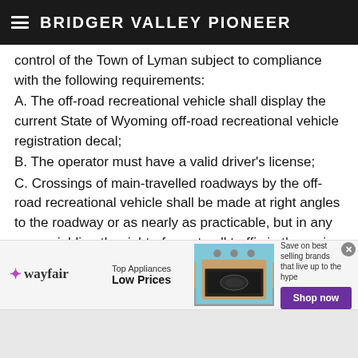BRIDGER VALLEY PIONEER
control of the Town of Lyman subject to compliance with the following requirements:
A. The off-road recreational vehicle shall display the current State of Wyoming off-road recreational vehicle registration decal;
B. The operator must have a valid driver's license;
C. Crossings of main-travelled roadways by the off-road recreational vehicle shall be made at right angles to the roadway or as nearly as practicable, but in any case, yielding the right-of-way to all traffic in the main-travelled roadway;
D. When operating at any time from one-half (1/2)
[Figure (infographic): Wayfair advertisement banner: Top Appliances Low Prices, Save on best selling brands that live up to the hype, Shop now button, image of a stove/range appliance]